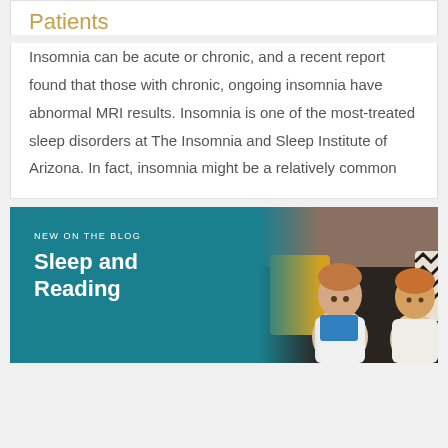Patients
Insomnia can be acute or chronic, and a recent report found that those with chronic, ongoing insomnia have abnormal MRI results. Insomnia is one of the most-treated sleep disorders at The Insomnia and Sleep Institute of Arizona. In fact, insomnia might be a relatively common
[Figure (photo): Blog card with teal background showing two young children sitting on a dark sofa with yellow and black-and-white patterned pillows, looking at a book/tablet. Text overlay reads 'NEW ON THE BLOG' and 'Sleep and Reading']
NEW ON THE BLOG
Sleep and Reading